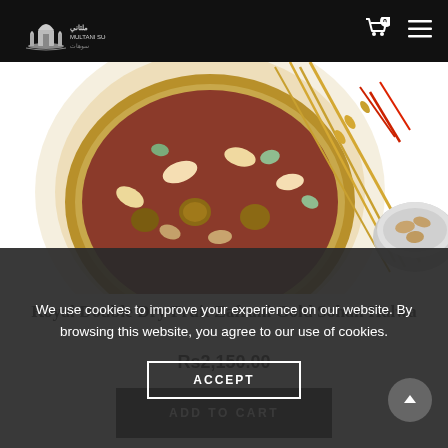Multani Sughat
[Figure (photo): Overhead view of a decorative gold tray filled with mixed dry fruits and nuts including cashews, pistachios, walnuts; wheat stalks and saffron strands; a silver bowl with pistachios on white background.]
Royal Double Dry Fruit Zafrani Gold Sohan Halwa
Rs2,150.00
ADD TO CART
[Figure (photo): Partial view of another product — a round tray with dry fruit confection, visible at bottom of page.]
We use cookies to improve your experience on our website. By browsing this website, you agree to our use of cookies.
ACCEPT